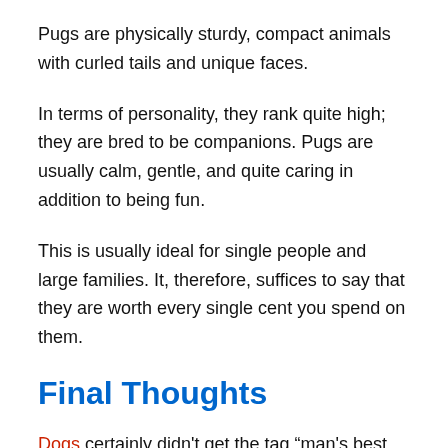Pugs are physically sturdy, compact animals with curled tails and unique faces.
In terms of personality, they rank quite high; they are bred to be companions. Pugs are usually calm, gentle, and quite caring in addition to being fun.
This is usually ideal for single people and large families. It, therefore, suffices to say that they are worth every single cent you spend on them.
Final Thoughts
Dogs certainly didn't get the tag “man's best friend” for